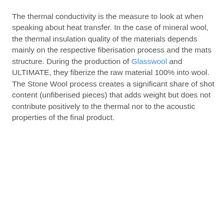The thermal conductivity is the measure to look at when speaking about heat transfer. In the case of mineral wool, the thermal insulation quality of the materials depends mainly on the respective fiberisation process and the mats structure. During the production of Glasswool and ULTIMATE, they fiberize the raw material 100% into wool. The Stone Wool process creates a significant share of shot content (unfiberised pieces) that adds weight but does not contribute positively to the thermal nor to the acoustic properties of the final product.